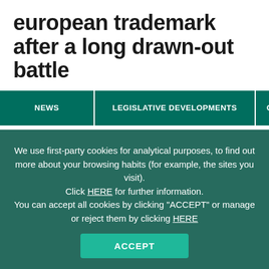european trademark after a long drawn-out battle
NEWS | LEGISLATIVE DEVELOPMENTS | GARRIGUES O
We use first-party cookies for analytical purposes, to find out more about your browsing habits (for example, the sites you visit). Click HERE for further information. You can accept all cookies by clicking "ACCEPT" or manage or reject them by clicking HERE
ACCEPT